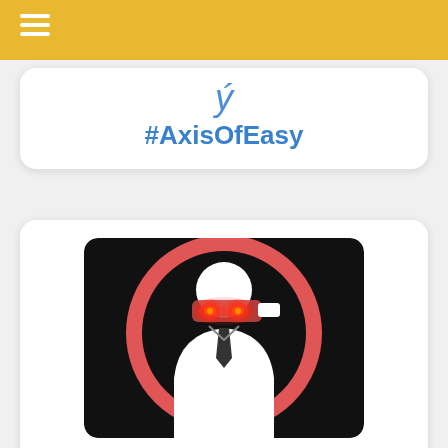#AxisOfEasy
[Figure (illustration): Bombthrower logo: stylized figure in suit with red glowing eyes behind a mask/blindfold, black silhouette on black circle background with red ring border]
Bombthrower
[Figure (illustration): Partially visible illustration showing tree/coral-like branch structures in black and blue, bottom of page]